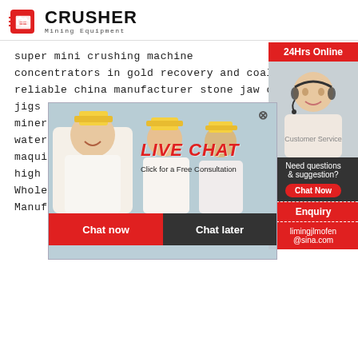CRUSHER Mining Equipment
super mini crushing machine
concentrators in gold recovery and coal processing
reliable china manufacturer stone jaw crusher
jigs for conce...
mineral proce...
water well sc...
maquina para...
high quality 100 tph stone jaw crusher plant m...
Wholesale Automatic Palm Oil Mill
Manufacturer Of Stone Crushing Machines
[Figure (screenshot): Live chat popup overlay with workers in hard hats, 'LIVE CHAT' text in red, 'Click for a Free Consultation', Chat now and Chat later buttons]
[Figure (photo): Right sidebar with 24Hrs Online banner, customer service representative photo with headset, Need questions & suggestion section with Chat Now button, Enquiry section, and limingjlmofen@sina.com email]